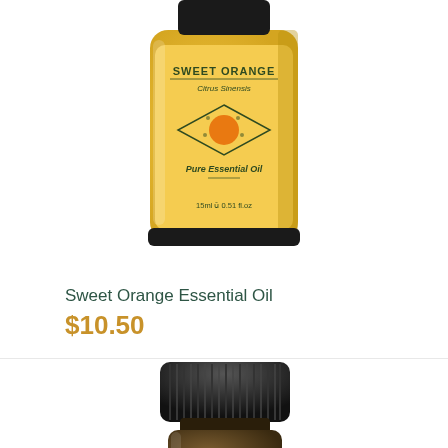[Figure (photo): Sweet Orange Essential Oil bottle with yellow/golden label showing 'Sweet Orange', 'Citrus Sinensis', diamond logo, 'Pure Essential Oil', 15ml 0.51 fl.oz, with black cap, partially cropped at top]
Sweet Orange Essential Oil
$10.50
[Figure (photo): Dark amber essential oil bottle with black ribbed cap and green leaf label, partially cropped at bottom]